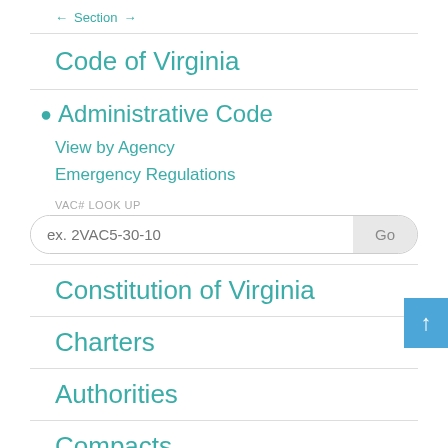← Section →
Code of Virginia
• Administrative Code
View by Agency
Emergency Regulations
VAC# LOOK UP
ex. 2VAC5-30-10
Constitution of Virginia
Charters
Authorities
Compacts
Uncodified Acts